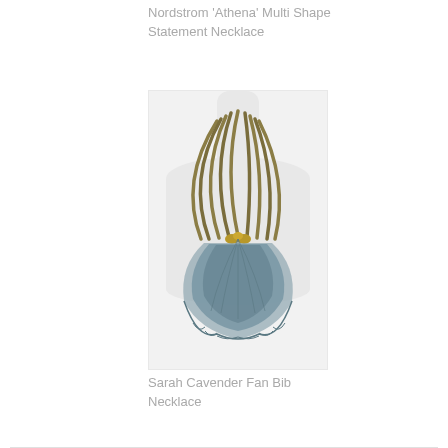Nordstrom 'Athena' Multi Shape Statement Necklace
[Figure (photo): Photo of a statement necklace on a white mannequin neck form. The necklace features multiple brown/olive strands forming a collar with a fan-shaped bib pendant in gray-blue tones with gold accent details at the center.]
Sarah Cavender Fan Bib Necklace